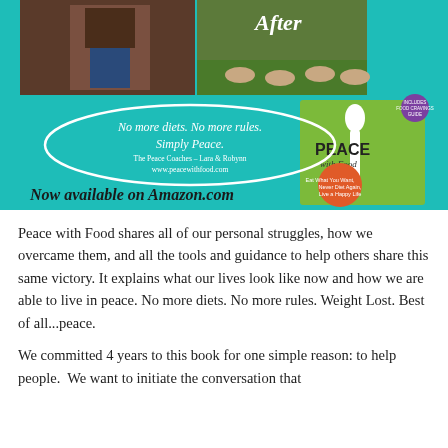[Figure (infographic): Teal/turquoise banner with book promotion for 'Peace with Food'. Contains two photos (before/after), an oval text bubble saying 'No more diets. No more rules. Simply Peace.' with The Peace Coaches names and website, text 'Now available on Amazon.com', and a book cover image for 'Peace with Food'.]
Peace with Food shares all of our personal struggles, how we overcame them, and all the tools and guidance to help others share this same victory. It explains what our lives look like now and how we are able to live in peace. No more diets. No more rules. Weight Lost. Best of all...peace.
We committed 4 years to this book for one simple reason: to help people.  We want to initiate the conversation that